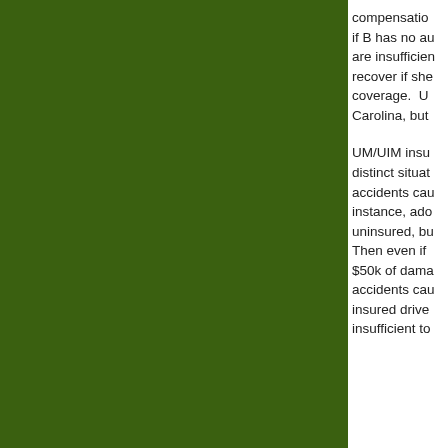[Figure (other): Green background panel occupying the left ~78% of the page]
compensation if B has no au are insufficien recover if she coverage.  U Carolina, but
UM/UIM insu distinct situat accidents cau instance, ado uninsured, bu Then even if $50k of dama accidents cau insured drive insufficient to